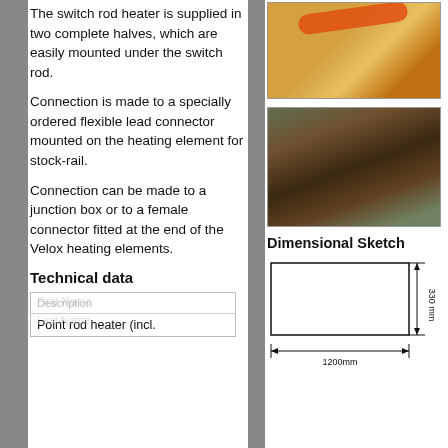The switch rod heater is supplied in two complete halves, which are easily mounted under the switch rod.
[Figure (photo): Close-up photo of orange heating cable coiled on a gold/brass colored surface]
[Figure (photo): Overhead view of railway switch/point heater installed between rails on wooden sleepers with gravel ballast]
Connection is made to a specially ordered flexible lead connector mounted on the heating element for stock-rail.
Connection can be made to a junction box or to a female connector fitted at the end of the Velox heating elements.
Dimensional Sketch
[Figure (engineering-diagram): Dimensional sketch of rectangular heating element showing 1200mm width and 330mm height with dimension arrows]
Technical data
| Description |
| --- |
| Point rod heater (incl. |